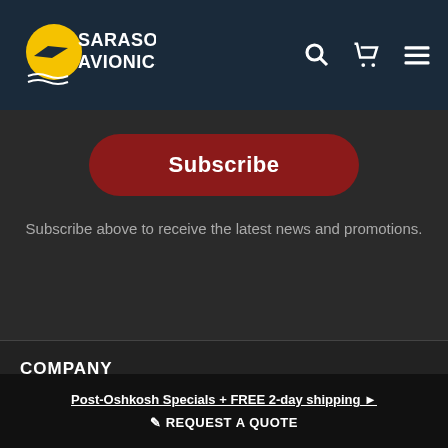Sarasota Avionics
Subscribe
Subscribe above to receive the latest news and promotions.
COMPANY
About Us
Post-Oshkosh Specials + FREE 2-day shipping ▶
✏ REQUEST A QUOTE